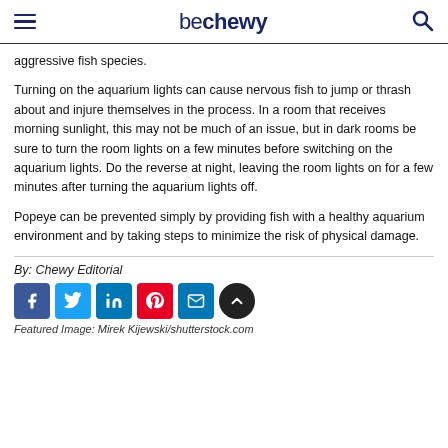be chewy
aggressive fish species.
Turning on the aquarium lights can cause nervous fish to jump or thrash about and injure themselves in the process. In a room that receives morning sunlight, this may not be much of an issue, but in dark rooms be sure to turn the room lights on a few minutes before switching on the aquarium lights. Do the reverse at night, leaving the room lights on for a few minutes after turning the aquarium lights off.
Popeye can be prevented simply by providing fish with a healthy aquarium environment and by taking steps to minimize the risk of physical damage.
By: Chewy Editorial
Featured Image: Mirek Kijewski/shutterstock.com